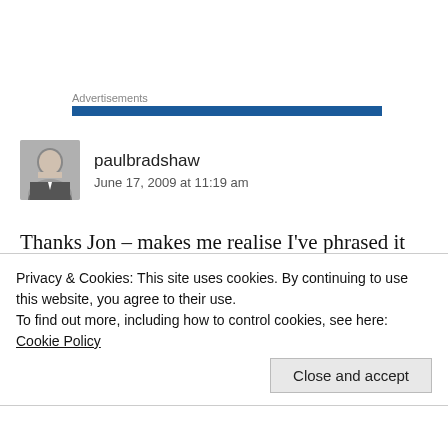Advertisements
paulbradshaw
June 17, 2009 at 11:19 am
Thanks Jon – makes me realise I've phrased it rather poorly, so will rewrite.
Privacy & Cookies: This site uses cookies. By continuing to use this website, you agree to their use.
To find out more, including how to control cookies, see here: Cookie Policy
Close and accept